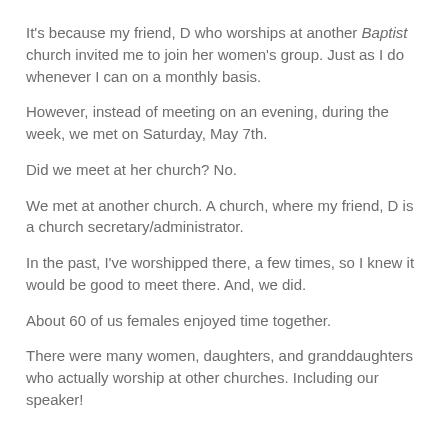It's because my friend, D who worships at another Baptist church invited me to join her women's group.  Just as I do whenever I can on a monthly basis.
However, instead of meeting on an evening, during the week, we met on Saturday, May 7th.
Did we meet at her church?  No.
We met at another church.  A church, where my friend, D is a church secretary/administrator.
In the past, I've worshipped there, a few times, so I knew it would be good to meet there.  And, we did.
About 60 of us females enjoyed time together.
There were many women, daughters, and granddaughters who actually worship at other churches.  Including our speaker!